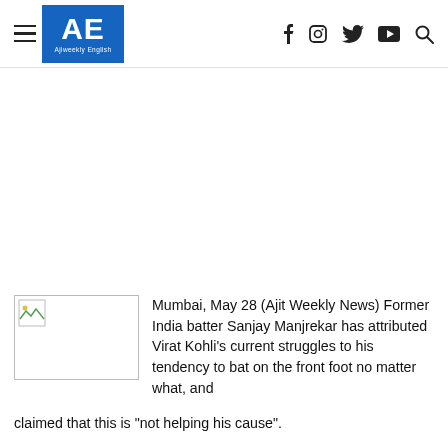AE Ajiweekly English
[Figure (illustration): Broken/placeholder image thumbnail]
Mumbai, May 28 (Ajit Weekly News) Former India batter Sanjay Manjrekar has attributed Virat Kohli's current struggles to his tendency to bat on the front foot no matter what, and claimed that this is "not helping his cause".